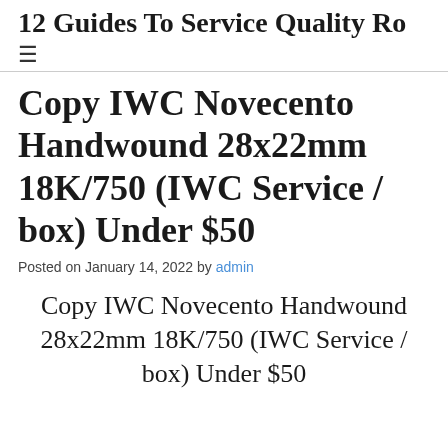12 Guides To Service Quality Ro…
Copy IWC Novecento Handwound 28x22mm 18K/750 (IWC Service / box) Under $50
Posted on January 14, 2022 by admin
Copy IWC Novecento Handwound 28x22mm 18K/750 (IWC Service / box) Under $50